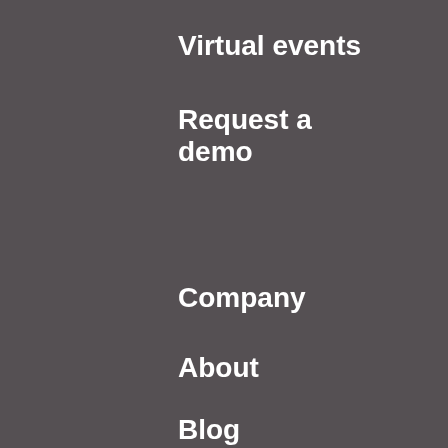Virtual events
Request a demo
Company
About
Blog
Careers
Contact
Support
Channel owners
Developers
Presenters